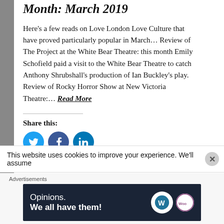Month: March 2019
Here's a few reads on Love London Love Culture that have proved particularly popular in March… Review of The Project at the White Bear Theatre: this month Emily Schofield paid a visit to the White Bear Theatre to catch Anthony Shrubshall's production of Ian Buckley's play. Review of Rocky Horror Show at New Victoria Theatre:… Read More
Share this:
[Figure (infographic): Three circular social media share buttons: Twitter (light blue), Facebook (dark blue), LinkedIn (blue)]
This website uses cookies to improve your experience. We'll assume
Advertisements
[Figure (infographic): Advertisement banner: dark navy background with 'Opinions. We all have them!' text in white, WordPress and WooCommerce logos on the right.]